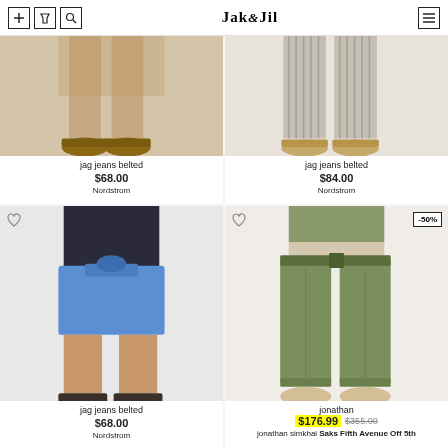Jak & Jil
[Figure (photo): Partial lower body photo showing jag jeans belted with sandals, product #1 top-left]
jag jeans belted
$68.00
Nordstrom
[Figure (photo): Partial lower body photo showing jag jeans belted striped wide-leg pants with sandals, product #2 top-right]
jag jeans belted
$84.00
Nordstrom
[Figure (photo): Full body photo of woman wearing blue denim belted shorts, product #3 bottom-left]
jag jeans belted
$68.00
Nordstrom
[Figure (photo): Full body photo of woman wearing olive green belted trousers, -50% sale badge, product #4 bottom-right]
jonathan
$176.99 $355.00
jonathan simkhai Saks Fifth Avenue Off 5th